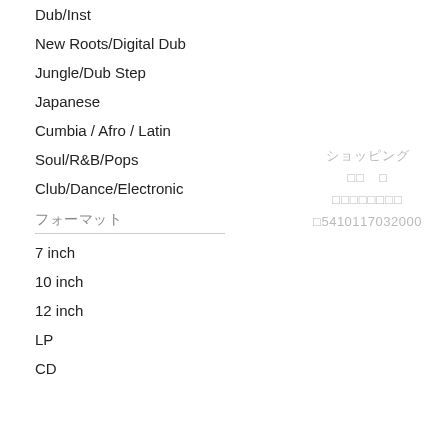Dub/Inst
New Roots/Digital Dub
Jungle/Dub Step
Japanese
Cumbia / Afro / Latin
Soul/R&B/Pops
Club/Dance/Electronic
フォーマット
7 inch
10 inch
12 inch
LP
CD
ショッピング
□□　□
□□□□□□□□
□5410117032000